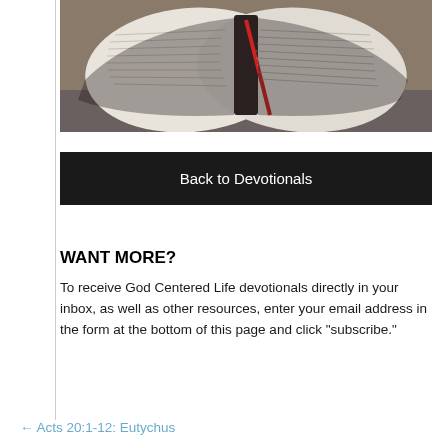[Figure (photo): An open Bible with a red ribbon bookmark, resting on a stone surface with a blurred autumn background.]
Back to Devotionals
WANT MORE?
To receive God Centered Life devotionals directly in your inbox, as well as other resources, enter your email address in the form at the bottom of this page and click "subscribe."
← Acts 20:1-12: Eutychus